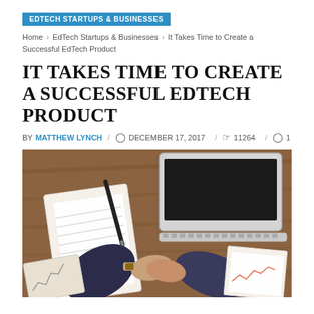EDTECH STARTUPS & BUSINESSES
Home › EdTech Startups & Businesses › It Takes Time to Create a Successful EdTech Product
IT TAKES TIME TO CREATE A SUCCESSFUL EDTECH PRODUCT
BY MATTHEW LYNCH / DECEMBER 17, 2017 / 11264 / 1
[Figure (photo): Overhead view of two people shaking hands over a wooden desk with a laptop, clipboard with papers, a pen, and documents scattered around.]